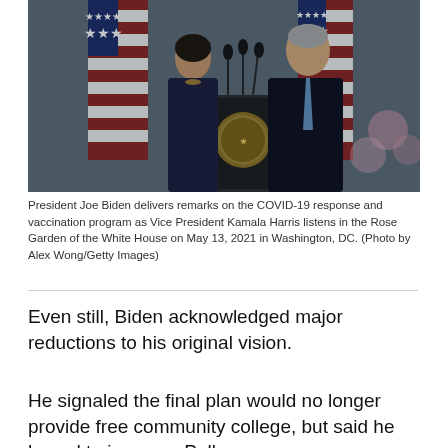[Figure (photo): President Joe Biden speaks at a podium with the Presidential seal in the Rose Garden, with Vice President Kamala Harris standing behind him. American flags are visible in the background.]
President Joe Biden delivers remarks on the COVID-19 response and vaccination program as Vice President Kamala Harris listens in the Rose Garden of the White House on May 13, 2021 in Washington, DC. (Photo by Alex Wong/Getty Images)
Even still, Biden acknowledged major reductions to his original vision.
He signaled the final plan would no longer provide free community college, but said he hoped to increase Pell